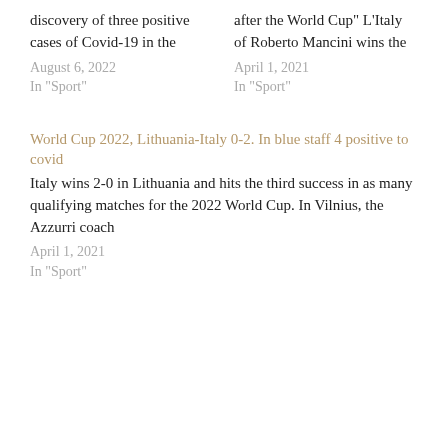discovery of three positive cases of Covid-19 in the
August 6, 2022
In "Sport"
after the World Cup" L'Italy of Roberto Mancini wins the
April 1, 2021
In "Sport"
World Cup 2022, Lithuania-Italy 0-2. In blue staff 4 positive to covid
Italy wins 2-0 in Lithuania and hits the third success in as many qualifying matches for the 2022 World Cup. In Vilnius, the Azzurri coach
April 1, 2021
In "Sport"